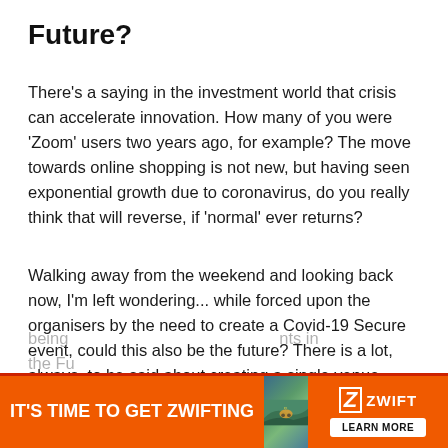Future?
There's a saying in the investment world that crisis can accelerate innovation. How many of you were 'Zoom' users two years ago, for example? The move towards online shopping is not new, but having seen exponential growth due to coronavirus, do you really think that will reverse, if 'normal' ever returns?
Walking away from the weekend and looking back now, I'm left wondering... while forced upon the organisers by the need to create a Covid-19 Secure event, could this also be the future? There is a lot, always, to be said about creating a single venue.
As an age-group athlete on Sunday for example, finishing your Standard distance race at say 10:30am being [partial, obscured by ad]
[Figure (other): Advertisement banner for Zwift with orange background. Left side reads 'IT'S TIME TO GET ZWIFTING' in bold white text. Center shows a scenic outdoor cycling image. Right side shows Zwift logo with 'LEARN MORE' button.]